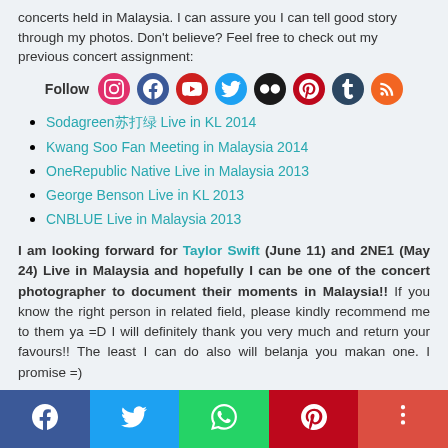concerts held in Malaysia. I can assure you I can tell good story through my photos. Don't believe? Feel free to check out my previous concert assignment:
[Figure (infographic): Follow social media icons: Instagram, Facebook, YouTube, Twitter, Flickr, Pinterest, Tumblr, RSS]
Sodagreen苏打绿 Live in KL 2014
Kwang Soo Fan Meeting in Malaysia 2014
OneRepublic Native Live in Malaysia 2013
George Benson Live in KL 2013
CNBLUE Live in Malaysia 2013
I am looking forward for Taylor Swift (June 11) and 2NE1 (May 24) Live in Malaysia and hopefully I can be one of the concert photographer to document their moments in Malaysia!! If you know the right person in related field, please kindly recommend me to them ya =D I will definitely thank you very much and return your favours!! The least I can do also will belanja you makan one. I promise =)
[Figure (infographic): Footer social share bar with Facebook, Twitter, WhatsApp, Pinterest, More buttons]